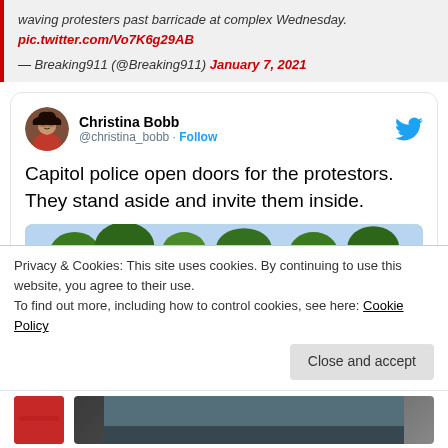waving protesters past barricade at complex Wednesday. pic.twitter.com/Vo7K6g29AB
— Breaking911 (@Breaking911) January 7, 2021
Christina Bobb @christina_bobb · Follow
Capitol police open doors for the protestors.  They stand aside and invite them inside.
Privacy & Cookies: This site uses cookies. By continuing to use this website, you agree to their use.
To find out more, including how to control cookies, see here: Cookie Policy
Close and accept